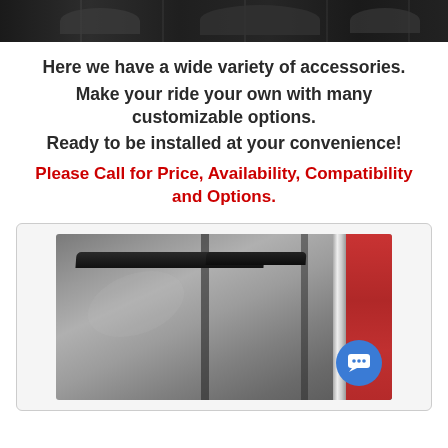[Figure (photo): Top banner image of car accessories, dark background]
Here we have a wide variety of accessories.
Make your ride your own with many customizable options.
Ready to be installed at your convenience!
Please Call for Price, Availability, Compatibility and Options.
[Figure (photo): Photo of car window deflectors/visors installed on a red vehicle, showing tinted window deflectors on driver side windows]